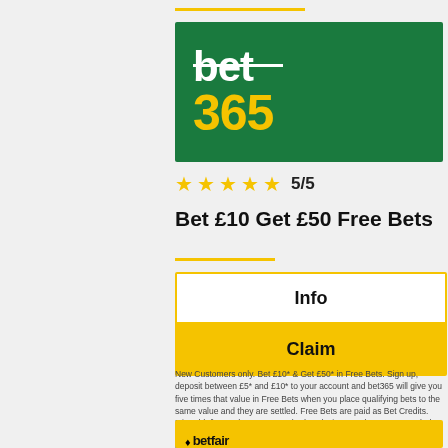[Figure (logo): bet365 logo — green background with white 'bet' text and yellow '365' text]
★★★★★ 5/5
Bet £10 Get £50 Free Bets
Info
Claim
New Customers only. Bet £10* & Get £50* in Free Bets. Sign up, deposit between £5* and £10* to your account and bet365 will give you five times that value in Free Bets when you place qualifying bets to the same value and they are settled. Free Bets are paid as Bet Credits. Min odds/bet and payment method exclusions apply. Returns exclude Bet Credits stake. T&Cs, time limits & exclusions apply. begambleaware.org. #ad
[Figure (logo): Betfair logo — yellow background with diamond symbol and 'betfair' text]